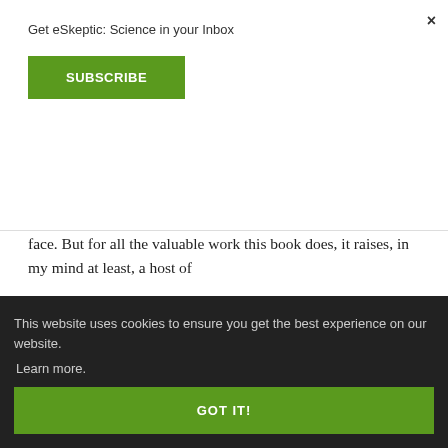Get eSkeptic: Science in your Inbox
SUBSCRIBE
loved ones.
Between the stories and the commentary we do get a picture of atheist identities, how they are formed, and the obstacles they face. But for all the valuable work this book does, it raises, in my mind at least, a host of
ch less
over the
entifying
e question
of how people decide to come out of the closet
This website uses cookies to ensure you get the best experience on our website. Learn more.
GOT IT!